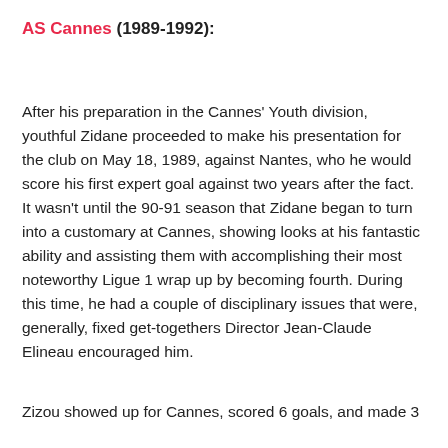AS Cannes (1989-1992):
After his preparation in the Cannes' Youth division, youthful Zidane proceeded to make his presentation for the club on May 18, 1989, against Nantes, who he would score his first expert goal against two years after the fact. It wasn't until the 90-91 season that Zidane began to turn into a customary at Cannes, showing looks at his fantastic ability and assisting them with accomplishing their most noteworthy Ligue 1 wrap up by becoming fourth. During this time, he had a couple of disciplinary issues that were, generally, fixed get-togethers Director Jean-Claude Elineau encouraged him.
Zizou showed up for Cannes, scored 6 goals, and made 3